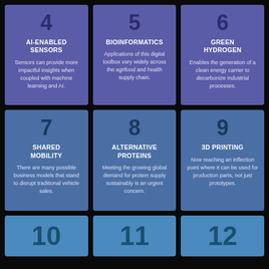[Figure (infographic): Grid of numbered technology topic cards. Cards 4-9 visible in full, cards 10-12 partially visible at bottom. Purple cards (4-6): AI-Enabled Sensors, Bioinformatics, Green Hydrogen. Blue cards (7-9): Shared Mobility, Alternative Proteins, 3D Printing. Light blue partial cards (10-12) at bottom.]